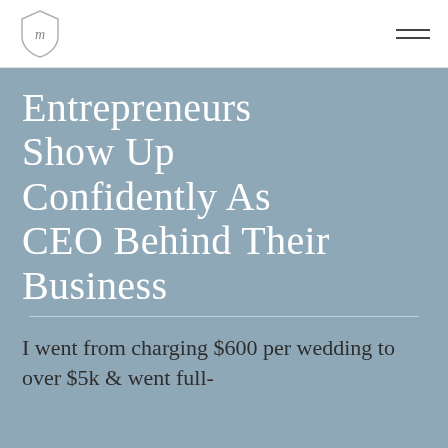Entrepreneurs Show Up Confidently As CEO Behind Their Business
I went from charging $600 per wedding to over $5k & went full-